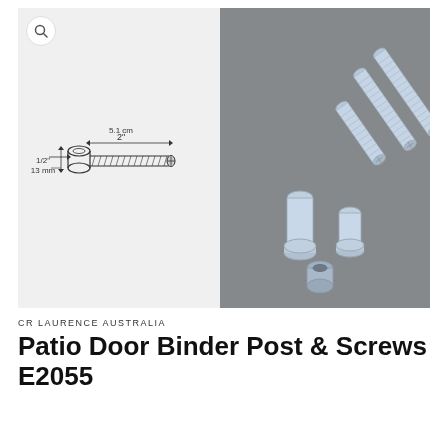[Figure (photo): Split image: left half shows a technical line drawing of a binder post screw with dimension annotations (2" / 5.1 cm length, 1/2" / 13 mm width); right half shows a photograph of actual zinc-plated binder posts and screws on a gray surface.]
CR LAURENCE AUSTRALIA
Patio Door Binder Post & Screws E2055